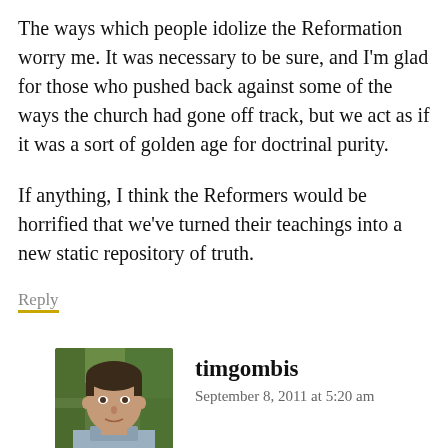The ways which people idolize the Reformation worry me. It was necessary to be sure, and I'm glad for those who pushed back against some of the ways the church had gone off track, but we act as if it was a sort of golden age for doctrinal purity.
If anything, I think the Reformers would be horrified that we've turned their teachings into a new static repository of truth.
Reply
timgombis
September 8, 2011 at 5:20 am
[Figure (photo): Profile photo of timgombis, a man with short dark hair against a green leafy background]
I totally agree, Mason. The manner in which the